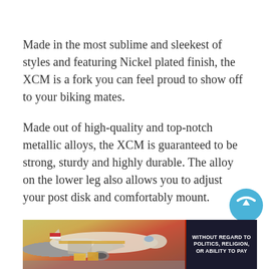Made in the most sublime and sleekest of styles and featuring Nickel plated finish, the XCM is a fork you can feel proud to show off to your biking mates.
Made out of high-quality and top-notch metallic alloys, the XCM is guaranteed to be strong, sturdy and highly durable. The alloy on the lower leg also allows you to adjust your post disk and comfortably mount.
The alloy material also makes the fork
[Figure (photo): Advertisement banner showing an airplane being loaded with cargo, with text 'WITHOUT REGARD TO POLITICS, RELIGION, OR ABILITY TO PAY' on a dark background on the right side. A partial blue circular logo appears in the top-right corner above the banner.]